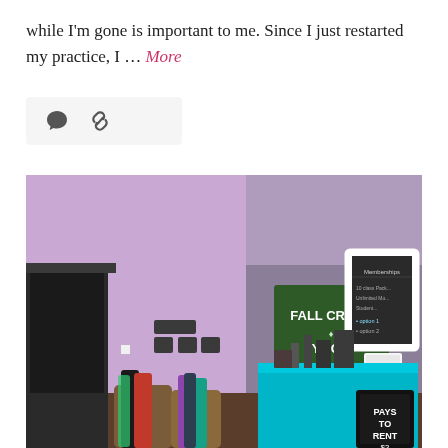while I'm gone is important to me. Since I just restarted my practice, I ... More
[Figure (other): Icon bar with speech bubble and link/chain icon on a light gray background]
[Figure (photo): Interior of Fall Creek Yoga studio showing a teal reception desk, purple and gray walls, a green sign reading 'FALL CREEK YOGA', yoga mats in baskets, a chalkboard menu, and a framed membership sign on the wall.]